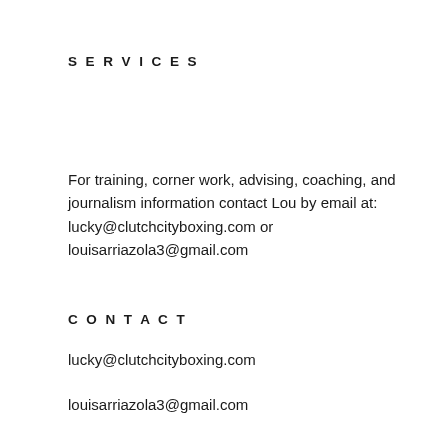SERVICES
For training, corner work, advising, coaching, and journalism information contact Lou by email at: lucky@clutchcityboxing.com or louisarriazola3@gmail.com
CONTACT
lucky@clutchcityboxing.com
louisarriazola3@gmail.com